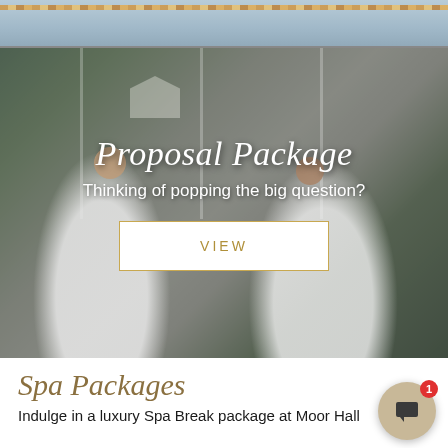[Figure (photo): Top portion of a spa/hotel interior image, partially cropped showing decorative stripe pattern]
[Figure (photo): A couple in white spa robes sitting in wicker chairs, laughing and chatting in a conservatory with garden view. Text overlay reads 'Proposal Package' and 'Thinking of popping the big question?' with a VIEW button]
Proposal Package
Thinking of popping the big question?
VIEW
Spa Packages
Indulge in a luxury Spa Break package at Moor Hall